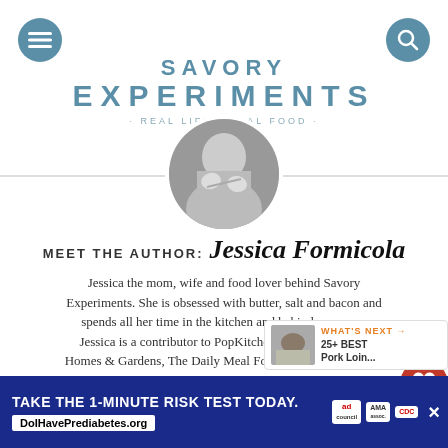SAVORY EXPERIMENTS · REAL LIFE · REAL FOOD ·
[Figure (photo): Circular cropped black and white author photo showing hands/person]
MEET THE AUTHOR: Jessica Formicola
Jessica the mom, wife and food lover behind Savory Experiments. She is obsessed with butter, salt and bacon and spends all her time in the kitchen and behind a camera. Jessica is a contributor to PopKitchen by Parade, Better Homes & Gardens, The Daily Meal Food + Travel and more!
LET'S CONNECT!
[Figure (logo): Social media icons: Facebook, Instagram, Pinterest, Twitter/bird]
TAKE THE 1-MINUTE RISK TEST TODAY. DoIHavePrediabetes.org
[Figure (logo): Ad council, AMA, CDC logos]